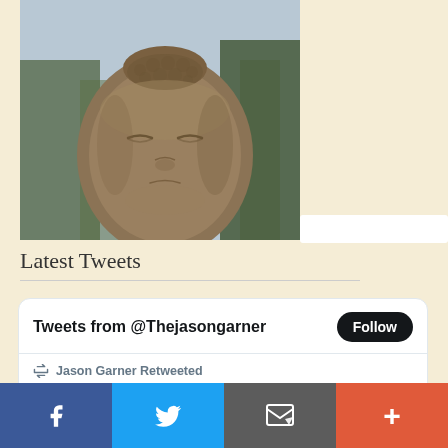[Figure (photo): Stone Buddha statue head with closed eyes, trees in background, grey sky. Partial view showing top portion of face and head.]
Latest Tweets
[Figure (screenshot): Twitter widget showing tweets from @Thejasongarner with a Follow button. Contains a retweet by Jason Garner of a Calm tweet: 'Small steps. Deep breaths.' with 29 replies and 1,001 likes.]
[Figure (infographic): Bottom social sharing bar with Facebook, Twitter, email/bookmark, and plus buttons in blue, blue, grey, and orange-red colors.]